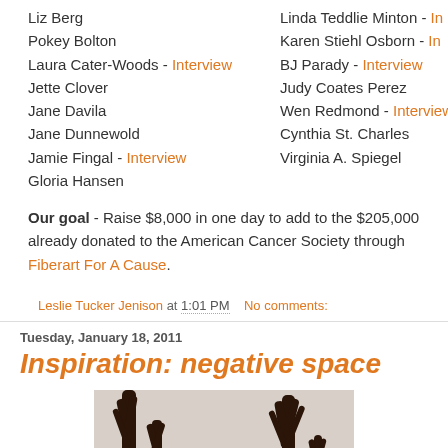Liz Berg
Pokey Bolton
Laura Cater-Woods - Interview
Jette Clover
Jane Davila
Jane Dunnewold
Jamie Fingal - Interview
Gloria Hansen
Linda Teddlie Minton - Interview
Karen Stiehl Osborn - Interview
BJ Parady - Interview
Judy Coates Perez
Wen Redmond - Interview
Cynthia St. Charles
Virginia A. Spiegel
Our goal - Raise $8,000 in one day to add to the $205,000 already donated to the American Cancer Society through Fiberart For A Cause.
Leslie Tucker Jenison at 1:01 PM   No comments:
Tuesday, January 18, 2011
Inspiration: negative space
[Figure (photo): Black and white photo showing bare tree branches silhouetted against a light sky, with dark gnarled branches reaching upward]